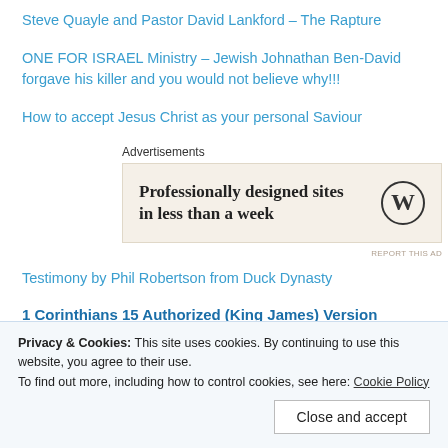Steve Quayle and Pastor David Lankford – The Rapture
ONE FOR ISRAEL Ministry – Jewish Johnathan Ben-David forgave his killer and you would not believe why!!!
How to accept Jesus Christ as your personal Saviour
[Figure (other): WordPress advertisement banner: 'Professionally designed sites in less than a week' with WordPress logo]
REPORT THIS AD
Testimony by Phil Robertson from Duck Dynasty
1 Corinthians 15 Authorized (King James) Version (AKJV)
Privacy & Cookies: This site uses cookies. By continuing to use this website, you agree to their use.
To find out more, including how to control cookies, see here: Cookie Policy
Close and accept